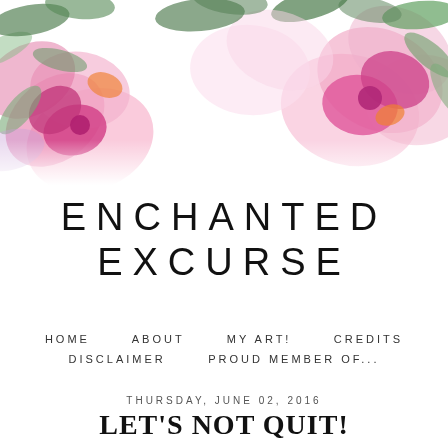[Figure (illustration): Watercolor floral illustration with pink, magenta, and light purple flowers with green leaves arranged across the top of the page on a white background.]
ENCHANTED EXCURSE
HOME   ABOUT   MY ART!   CREDITS   DISCLAIMER   PROUD MEMBER OF...
THURSDAY, JUNE 02, 2016
LET'S NOT QUIT!